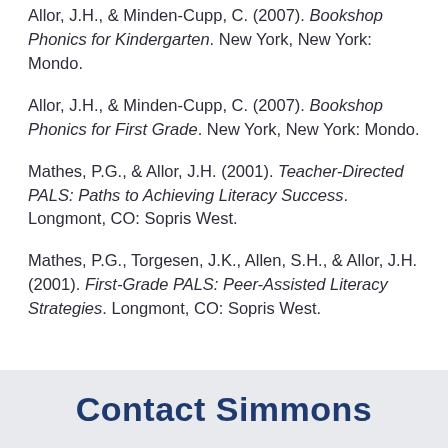Allor, J.H., & Minden-Cupp, C. (2007). Bookshop Phonics for Kindergarten. New York, New York: Mondo.
Allor, J.H., & Minden-Cupp, C. (2007). Bookshop Phonics for First Grade. New York, New York: Mondo.
Mathes, P.G., & Allor, J.H. (2001). Teacher-Directed PALS: Paths to Achieving Literacy Success. Longmont, CO: Sopris West.
Mathes, P.G., Torgesen, J.K., Allen, S.H., & Allor, J.H. (2001). First-Grade PALS: Peer-Assisted Literacy Strategies. Longmont, CO: Sopris West.
Contact Simmons